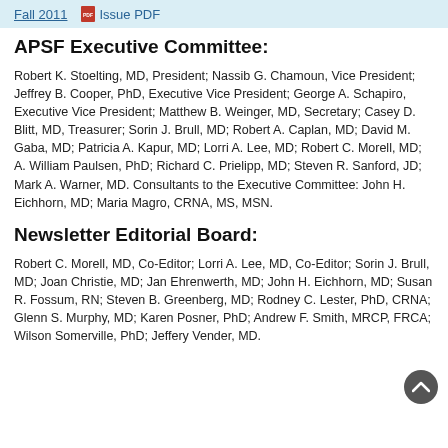Fall 2011   Issue PDF
APSF Executive Committee:
Robert K. Stoelting, MD, President; Nassib G. Chamoun, Vice President; Jeffrey B. Cooper, PhD, Executive Vice President; George A. Schapiro, Executive Vice President; Matthew B. Weinger, MD, Secretary; Casey D. Blitt, MD, Treasurer; Sorin J. Brull, MD; Robert A. Caplan, MD; David M. Gaba, MD; Patricia A. Kapur, MD; Lorri A. Lee, MD; Robert C. Morell, MD; A. William Paulsen, PhD; Richard C. Prielipp, MD; Steven R. Sanford, JD; Mark A. Warner, MD. Consultants to the Executive Committee: John H. Eichhorn, MD; Maria Magro, CRNA, MS, MSN.
Newsletter Editorial Board:
Robert C. Morell, MD, Co-Editor; Lorri A. Lee, MD, Co-Editor; Sorin J. Brull, MD; Joan Christie, MD; Jan Ehrenwerth, MD; John H. Eichhorn, MD; Susan R. Fossum, RN; Steven B. Greenberg, MD; Rodney C. Lester, PhD, CRNA; Glenn S. Murphy, MD; Karen Posner, PhD; Andrew F. Smith, MRCP, FRCA; Wilson Somerville, PhD; Jeffery Vender, MD.